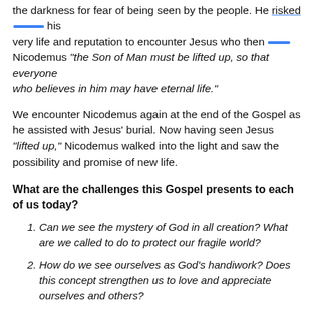the darkness for fear of being seen by the people. He risked his very life and reputation to encounter Jesus who then told Nicodemus "the Son of Man must be lifted up, so that everyone who believes in him may have eternal life."
We encounter Nicodemus again at the end of the Gospel as he assisted with Jesus' burial. Now having seen Jesus "lifted up," Nicodemus walked into the light and saw the possibility and promise of new life.
What are the challenges this Gospel presents to each of us today?
Can we see the mystery of God in all creation? What are we called to do to protect our fragile world?
How do we see ourselves as God's handiwork? Does this concept strengthen us to love and appreciate ourselves and others?
Do we have the courage of Nicodemus to seek good not